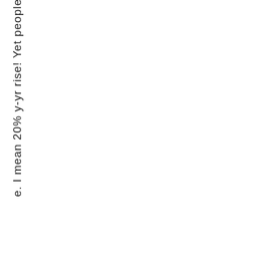e. I mean 20% y-yr rise! Yet people